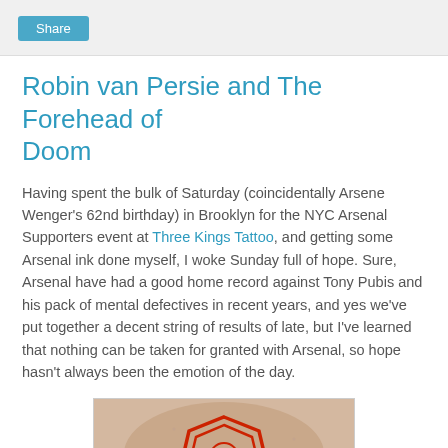Share
Robin van Persie and The Forehead of Doom
Having spent the bulk of Saturday (coincidentally Arsene Wenger's 62nd birthday) in Brooklyn for the NYC Arsenal Supporters event at Three Kings Tattoo, and getting some Arsenal ink done myself, I woke Sunday full of hope. Sure, Arsenal have had a good home record against Tony Pubis and his pack of mental defectives in recent years, and yes we've put together a decent string of results of late, but I've learned that nothing can be taken for granted with Arsenal, so hope hasn't always been the emotion of the day.
[Figure (photo): Close-up photo of an Arsenal tattoo on skin, showing the Arsenal cannon/crest logo in red outline on a light skin tone background.]